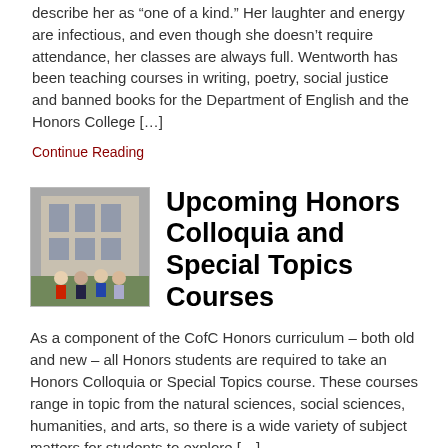describe her as “one of a kind.” Her laughter and energy are infectious, and even though she doesn’t require attendance, her classes are always full. Wentworth has been teaching courses in writing, poetry, social justice and banned books for the Department of English and the Honors College […]
Continue Reading
[Figure (photo): Group of students posing outdoors in front of a building]
Upcoming Honors Colloquia and Special Topics Courses
As a component of the CofC Honors curriculum – both old and new – all Honors students are required to take an Honors Colloquia or Special Topics course. These courses range in topic from the natural sciences, social sciences, humanities, and arts, so there is a wide variety of subject matters for students to explore […]